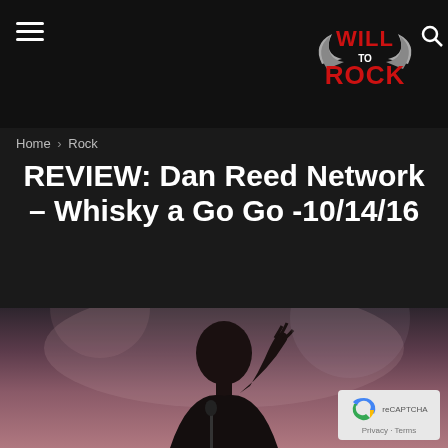Will To Rock – navigation header with hamburger menu and logo
Home › Rock
REVIEW: Dan Reed Network – Whisky a Go Go -10/14/16
By WillG - January 26, 2017  1390  0
[Figure (screenshot): Social share buttons: Facebook (f), Twitter (bird), Pinterest (p), WhatsApp (phone)]
[Figure (photo): Concert photo of a bald performer singing into a microphone with hand raised, on stage with atmospheric lighting]